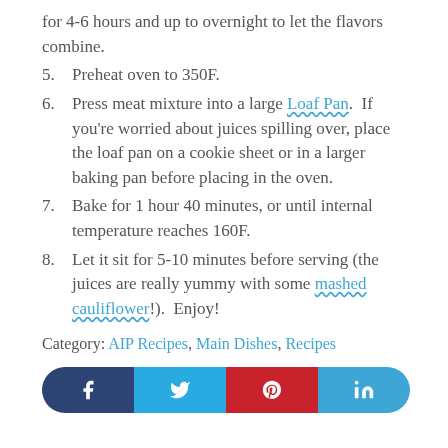for 4-6 hours and up to overnight to let the flavors combine.
5.   Preheat oven to 350F.
6.   Press meat mixture into a large Loaf Pan.  If you’re worried about juices spilling over, place the loaf pan on a cookie sheet or in a larger baking pan before placing in the oven.
7.   Bake for 1 hour 40 minutes, or until internal temperature reaches 160F.
8.   Let it sit for 5-10 minutes before serving (the juices are really yummy with some mashed cauliflower!).  Enjoy!
Category: AIP Recipes, Main Dishes, Recipes
[Figure (infographic): Social sharing buttons row: Facebook (dark blue), Twitter (light blue), Pinterest (red), LinkedIn (blue)]